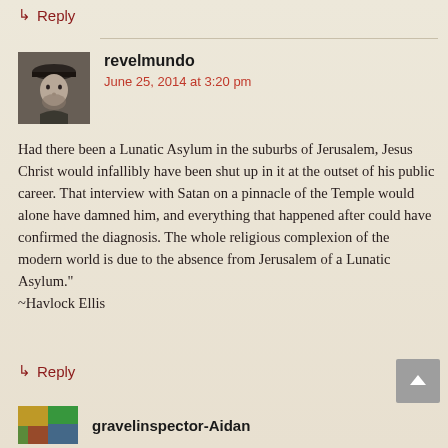↳ Reply
revelmundo
June 25, 2014 at 3:20 pm
Had there been a Lunatic Asylum in the suburbs of Jerusalem, Jesus Christ would infallibly have been shut up in it at the outset of his public career. That interview with Satan on a pinnacle of the Temple would alone have damned him, and everything that happened after could have confirmed the diagnosis. The whole religious complexion of the modern world is due to the absence from Jerusalem of a Lunatic Asylum."
~Havlock Ellis
↳ Reply
gravelinspector-Aidan